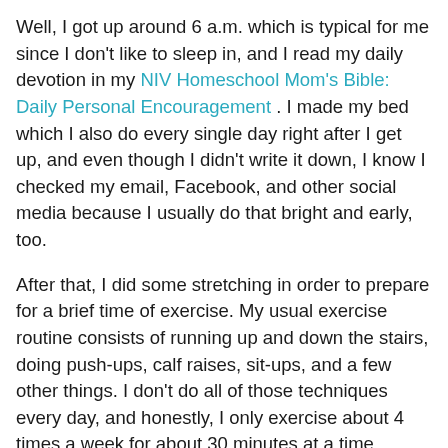Well, I got up around 6 a.m. which is typical for me since I don't like to sleep in, and I read my daily devotion in my NIV Homeschool Mom's Bible: Daily Personal Encouragement . I made my bed which I also do every single day right after I get up, and even though I didn't write it down, I know I checked my email, Facebook, and other social media because I usually do that bright and early, too.
After that, I did some stretching in order to prepare for a brief time of exercise. My usual exercise routine consists of running up and down the stairs, doing push-ups, calf raises, sit-ups, and a few other things. I don't do all of those techniques every day, and honestly, I only exercise about 4 times a week for about 30 minutes at a time. When it's not so hot outside, my hubby and I also take evening walks, but right now it's pretty much too hot for that in the Arizona desert!
[Figure (photo): Outdoor photo showing a garden trellis with green plants, against a concrete block wall background]